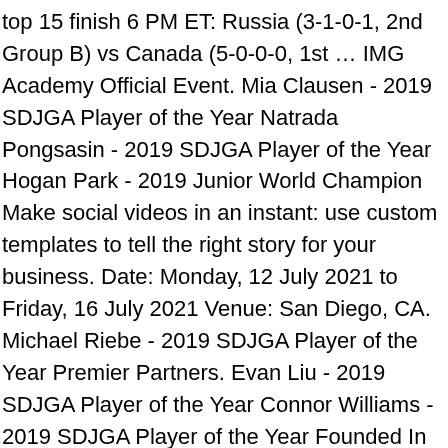top 15 finish 6 PM ET: Russia (3-1-0-1, 2nd Group B) vs Canada (5-0-0-0, 1st … IMG Academy Official Event. Mia Clausen - 2019 SDJGA Player of the Year Natrada Pongsasin - 2019 SDJGA Player of the Year Hogan Park - 2019 Junior World Champion Make social videos in an instant: use custom templates to tell the right story for your business. Date: Monday, 12 July 2021 to Friday, 16 July 2021 Venue: San Diego, CA. Michael Riebe - 2019 SDJGA Player of the Year Premier Partners. Evan Liu - 2019 SDJGA Player of the Year Connor Williams - 2019 SDJGA Player of the Year Founded In 1968, Over 1250 participants representing 56 Countries and 42 States. Registration; Divisions; Participants; Information; Courses; Back; Registration. Zude Xu - 2020 SDJGA Player of the Year IIHF - Schedule and Results 2021 IIHF WORLD